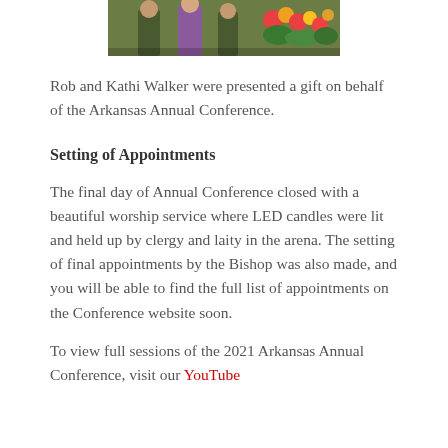[Figure (photo): Photo of people at an event with floral arrangements in the background, partially cropped at top]
Rob and Kathi Walker were presented a gift on behalf of the Arkansas Annual Conference.
Setting of Appointments
The final day of Annual Conference closed with a beautiful worship service where LED candles were lit and held up by clergy and laity in the arena. The setting of final appointments by the Bishop was also made, and you will be able to find the full list of appointments on the Conference website soon.
To view full sessions of the 2021 Arkansas Annual Conference, visit our YouTube